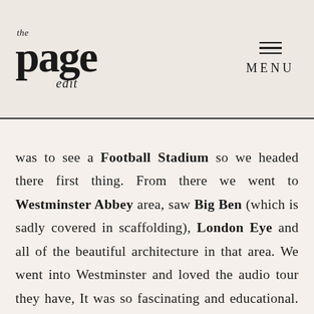the page edit — MENU
was to see a Football Stadium so we headed there first thing. From there we went to Westminster Abbey area, saw Big Ben (which is sadly covered in scaffolding), London Eye and all of the beautiful architecture in that area. We went into Westminster and loved the audio tour they have, It was so fascinating and educational. Buckingham Palace is relatively close and it's a nice walk along the park to get there. We had tea reservations at Sketch and It was such a cool experience! The details are